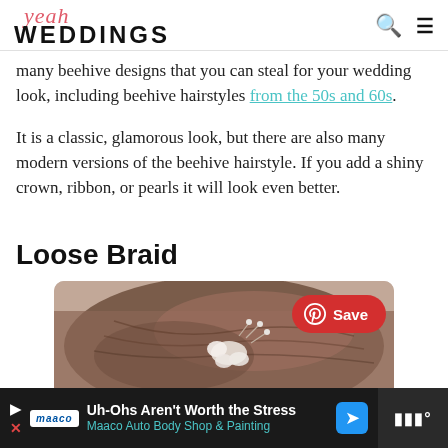yeah WEDDINGS
many beehive designs that you can steal for your wedding look, including beehive hairstyles from the 50s and 60s.
It is a classic, glamorous look, but there are also many modern versions of the beehive hairstyle. If you add a shiny crown, ribbon, or pearls it will look even better.
Loose Braid
[Figure (photo): Close-up photo of a woman's loose braid hairstyle with a white floral hair accessory and pearl pins, with a Pinterest Save button overlay.]
Uh-Ohs Aren't Worth the Stress Maaco Auto Body Shop & Painting